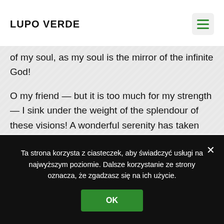LUPO VERDE
of my soul, as my soul is the mirror of the infinite God!
O my friend — but it is too much for my strength — I sink under the weight of the splendour of these visions! A wonderful serenity has taken possession of my entire soul, like these sweet mornings of spring which I enjoy with my whole heart. I am alone, and feel the charm of existence in this spot, which was
Ta strona korzysta z ciasteczek, aby świadczyć usługi na najwyższym poziomie. Dalsze korzystanie ze strony oznacza, że zgadzasz się na ich użycie. OK